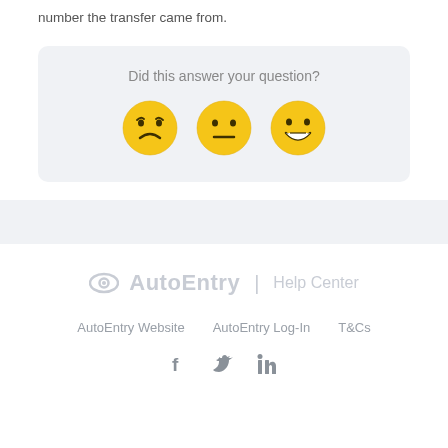number the transfer came from.
Did this answer your question?
[Figure (illustration): Three emoji faces: sad, neutral, and happy/smiling]
[Figure (logo): AutoEntry | Help Center logo]
AutoEntry Website   AutoEntry Log-In   T&Cs
[Figure (illustration): Social media icons: Facebook, Twitter, LinkedIn]